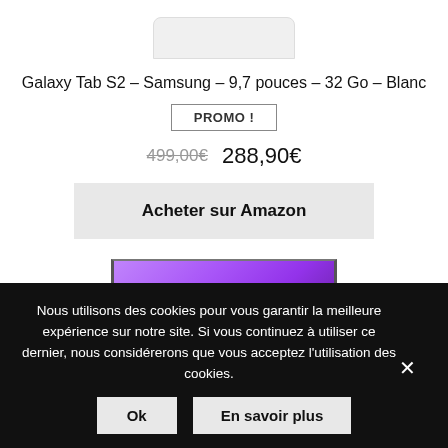[Figure (photo): Top portion of a Samsung Galaxy Tab S2 tablet in white, showing the top edge]
Galaxy Tab S2 – Samsung – 9,7 pouces – 32 Go – Blanc
PROMO !
499,00€  288,90€
Acheter sur Amazon
[Figure (photo): Bottom portion of a Samsung Galaxy Tab S2 tablet in purple/violet color]
Nous utilisons des cookies pour vous garantir la meilleure expérience sur notre site. Si vous continuez à utiliser ce dernier, nous considérerons que vous acceptez l'utilisation des cookies.
Ok    En savoir plus